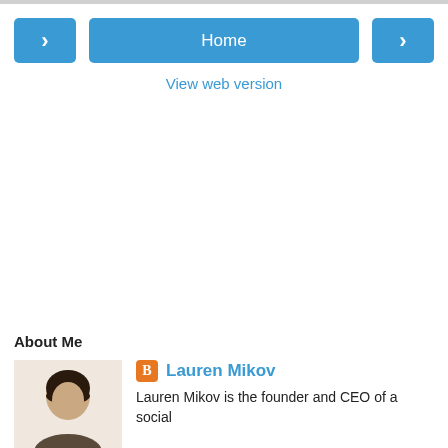[Figure (screenshot): Navigation bar with left arrow button, Home center button, and right arrow button in blue]
View web version
About Me
[Figure (photo): Profile photo of Lauren Mikov, a woman with dark hair]
Lauren Mikov
Lauren Mikov is the founder and CEO of a social